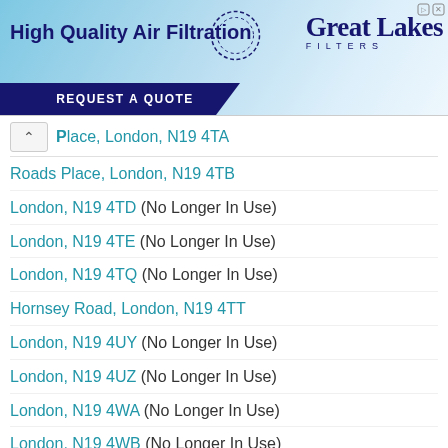[Figure (other): Advertisement banner for Great Lakes Filters - High Quality Air Filtration with a Request A Quote button]
Place, London, N19 4TA
Roads Place, London, N19 4TB
London, N19 4TD (No Longer In Use)
London, N19 4TE (No Longer In Use)
London, N19 4TQ (No Longer In Use)
Hornsey Road, London, N19 4TT
London, N19 4UY (No Longer In Use)
London, N19 4UZ (No Longer In Use)
London, N19 4WA (No Longer In Use)
London, N19 4WB (No Longer In Use)
London, N19 4WD (No Longer In Use)
London, N19 4WE (No Longer In Use)
London, N19 4WF (No Longer In Use)